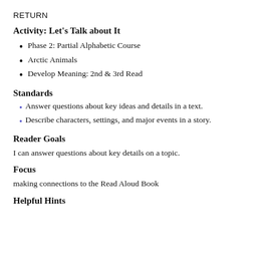RETURN
Activity: Let's Talk about It
Phase 2: Partial Alphabetic Course
Arctic Animals
Develop Meaning: 2nd & 3rd Read
Standards
Answer questions about key ideas and details in a text.
Describe characters, settings, and major events in a story.
Reader Goals
I can answer questions about key details on a topic.
Focus
making connections to the Read Aloud Book
Helpful Hints